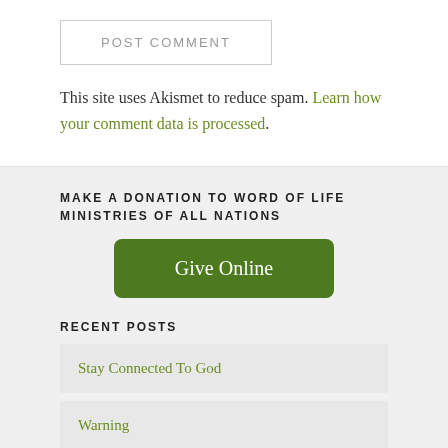POST COMMENT
This site uses Akismet to reduce spam. Learn how your comment data is processed.
MAKE A DONATION TO WORD OF LIFE MINISTRIES OF ALL NATIONS
Give Online
RECENT POSTS
Stay Connected To God
Warning
Broken, But Not Destroyed